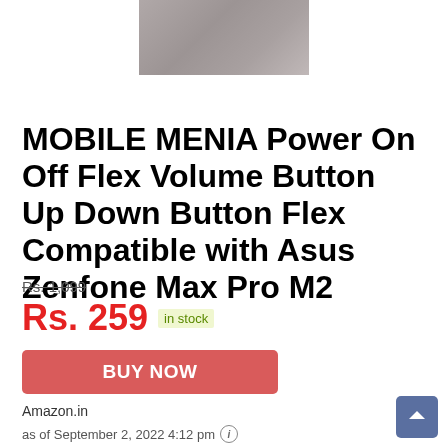[Figure (photo): Product image - grey/blurred rectangular area showing a phone component]
MOBILE MENIA Power On Off Flex Volume Button Up Down Button Flex Compatible with Asus Zenfone Max Pro M2
Rs. 1,099
Rs. 259 in stock
BUY NOW
Amazon.in
as of September 2, 2022 4:12 pm ℹ